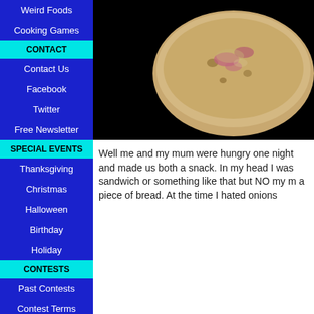Weird Foods
Cooking Games
CONTACT
Contact Us
Facebook
Twitter
Free Newsletter
SPECIAL EVENTS
Thanksgiving
Christmas
Halloween
Birthday
Holiday
CONTESTS
Past Contests
Contest Terms
PET TREATS
For Birds
For Cats
[Figure (photo): Close-up photo of a piece of bread with toppings on a dark/black background]
Well me and my mum were hungry one night and made us both a snack. In my head I was sandwich or something like that but NO my m a piece of bread. At the time I hated onions